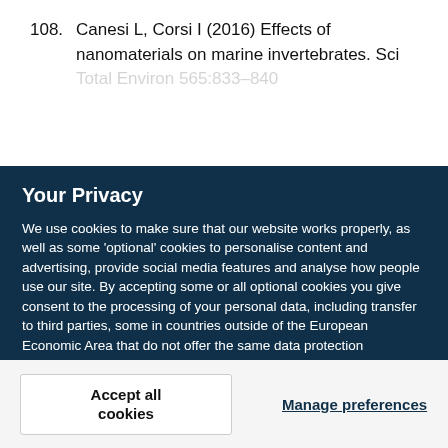108. Canesi L, Corsi I (2016) Effects of nanomaterials on marine invertebrates. Sci Total Environ 565:833–840
Your Privacy
We use cookies to make sure that our website works properly, as well as some 'optional' cookies to personalise content and advertising, provide social media features and analyse how people use our site. By accepting some or all optional cookies you give consent to the processing of your personal data, including transfer to third parties, some in countries outside of the European Economic Area that do not offer the same data protection standards as the country where you live. You can decide which optional cookies to accept by clicking on 'Manage Settings', where you can also find more information about how your personal data is processed. Further information can be found in our privacy policy.
Accept all cookies
Manage preferences